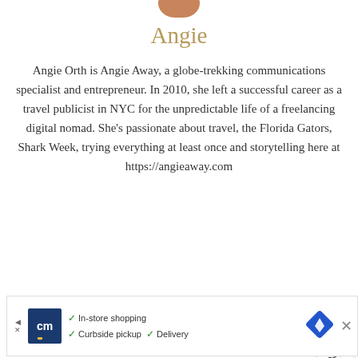[Figure (photo): Partial profile photo of Angie at the top of the page]
Angie
Angie Orth is Angie Away, a globe-trekking communications specialist and entrepreneur. In 2010, she left a successful career as a travel publicist in NYC for the unpredictable life of a freelancing digital nomad. She’s passionate about travel, the Florida Gators, Shark Week, trying everything at least once and storytelling here at https://angieaway.com
[Figure (other): Load Comments button in gold/tan color]
[Figure (other): Scroll to top arrow button in gold]
[Figure (other): Share button icon (circle with share symbol)]
[Figure (other): Social media icons row: Twitter, Facebook, Instagram, Pinterest in gold color]
[Figure (other): What's Next panel with thumbnail image and text 'The Jet Sisters Next...']
[Figure (other): Advertisement banner for cm with In-store shopping, Curbside pickup, Delivery]